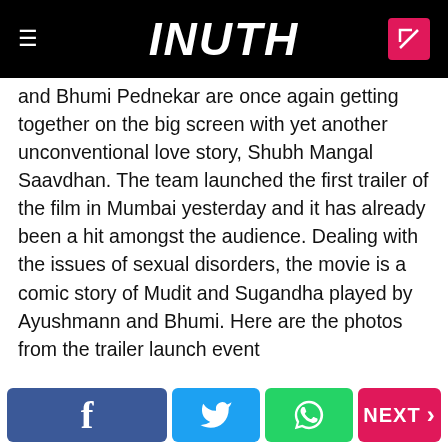INUTH
and Bhumi Pednekar are once again getting together on the big screen with yet another unconventional love story, Shubh Mangal Saavdhan. The team launched the first trailer of the film in Mumbai yesterday and it has already been a hit amongst the audience. Dealing with the issues of sexual disorders, the movie is a comic story of Mudit and Sugandha played by Ayushmann and Bhumi. Here are the photos from the trailer launch event
01/6 Ayushmann Khurrana and Bhumi Pednekar at Shubh Mangal Saavdhan trailer launch
Read More